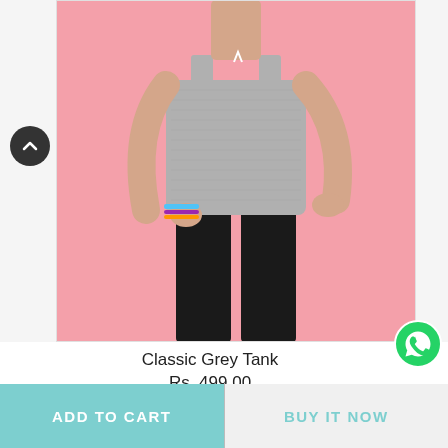[Figure (photo): A woman wearing a classic grey tank top and black leggings posed against a pink background. She wears colorful bracelets on her wrist.]
Classic Grey Tank
Rs. 499.00
ADD TO CART
BUY IT NOW